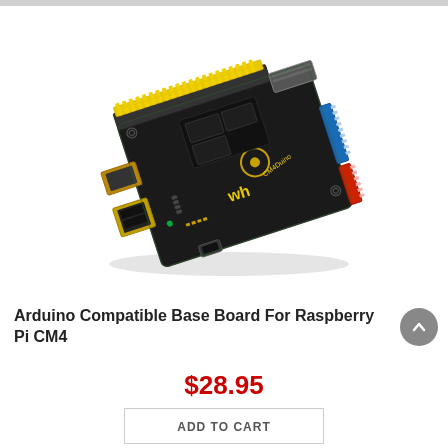[Figure (photo): Arduino Compatible Base Board for Raspberry Pi CM4 — a black PCB circuit board with yellow pin headers at top, blue and red connectors on the right, HDMI and USB ports on the left, Waveshare logo, and a flat ribbon cable connector on the upper right.]
Arduino Compatible Base Board For Raspberry Pi CM4
$28.95
ADD TO CART